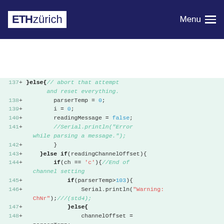ETH zürich  Menu
[Figure (screenshot): Code diff view showing lines 137-150 of Arduino/C++ code with line numbers, plus signs, and syntax highlighting on a light green background. Code includes else blocks, variable assignments (parserTemp, i, readingMessage), channel offset logic, and Serial.println/print statements.]